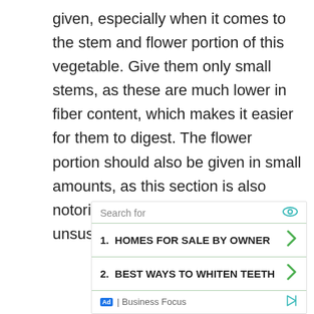given, especially when it comes to the stem and flower portion of this vegetable. Give them only small stems, as these are much lower in fiber content, which makes it easier for them to digest. The flower portion should also be given in small amounts, as this section is also notorious for causing gas in unsuspecting bunnies.
[Figure (other): Advertisement box with 'Search for' label, two list items: 1. HOMES FOR SALE BY OWNER, 2. BEST WAYS TO WHITEN TEETH, and footer with Ad badge and Business Focus label.]